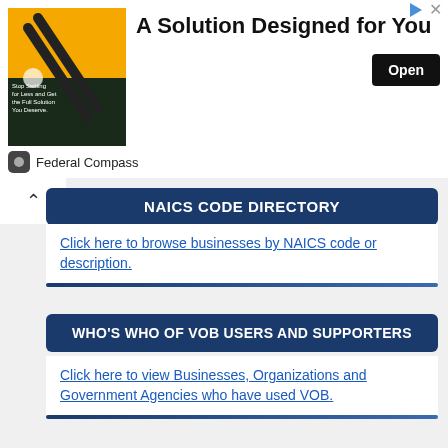[Figure (screenshot): Advertisement banner: Federal Compass - A Solution Designed for You, with Open button]
NAICS CODE DIRECTORY
Click here to browse businesses by NAICS code or description.
WHO'S WHO OF VOB USERS AND SUPPORTERS
Click here to view Businesses, Organizations and Government Agencies who have used VOB.
MEMBER PRESS RELEASE & EVENT SUBMISSION AREA
Share your news/event(s): we invite business and nonprofit members as well as PR agencies, news sources